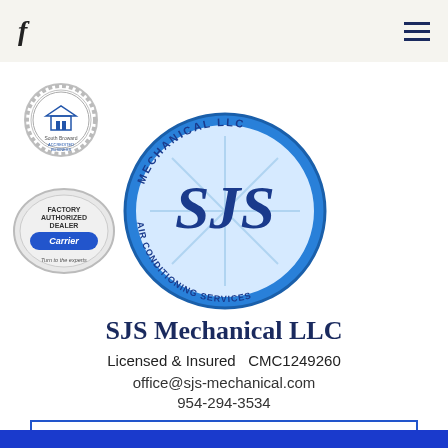f  ≡
[Figure (logo): South Broward BBB accredited business circular badge logo]
[Figure (logo): SJS Mechanical LLC Air Conditioning Services oval blue logo with snowflake]
[Figure (logo): Carrier Factory Authorized Dealer silver badge logo]
SJS Mechanical LLC
Licensed & Insured  CMC1249260
office@sjs-mechanical.com
954-294-3534
Get In Touch